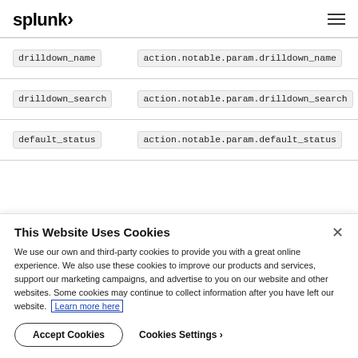splunk>
| Parameter | Value |
| --- | --- |
| drilldown_name | action.notable.param.drilldown_name |
| drilldown_search | action.notable.param.drilldown_search |
| default_status | action.notable.param.default_status |
This Website Uses Cookies
We use our own and third-party cookies to provide you with a great online experience. We also use these cookies to improve our products and services, support our marketing campaigns, and advertise to you on our website and other websites. Some cookies may continue to collect information after you have left our website. Learn more here
Accept Cookies   Cookies Settings ›